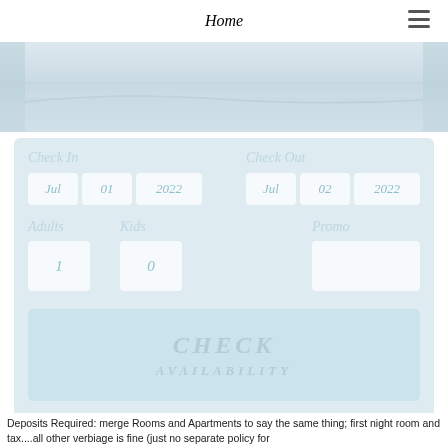Home
[Figure (photo): Hero image of a light blue-grey coastal/landscape scene, faded and washed out]
Check In  Jul  01  2022    Check Out  Jul  02  2022    Adults  Kids    Promo    1  0    CHECK AVAILABILITY
Deposits Required: merge Rooms and Apartments to say the same thing; first night room and tax....all other verbiage is fine (just no separate policy for